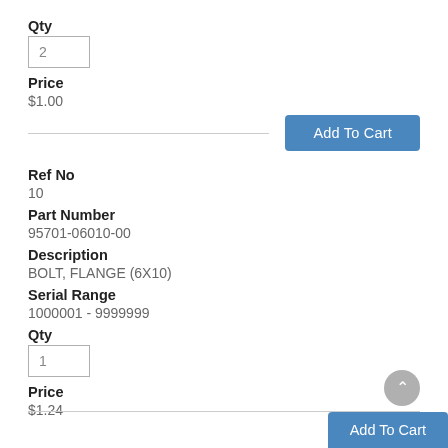Qty
2
Price
$1.00
Add To Cart
Ref No
10
Part Number
95701-06010-00
Description
BOLT, FLANGE (6X10)
Serial Range
1000001 - 9999999
Qty
1
Price
$1.24
Add To Cart